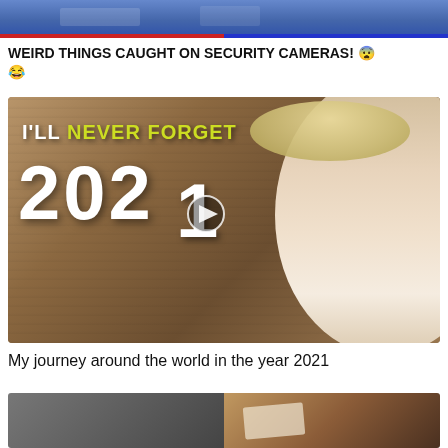[Figure (screenshot): Partial video thumbnail at top of page showing blue/purple toned image with red and blue border bar at bottom]
WEIRD THINGS CAUGHT ON SECURITY CAMERAS! 😨😂
[Figure (screenshot): Video thumbnail showing a man wearing sunglasses and straw hat with arms crossed against rocky background. Text overlay reads 'I'LL NEVER FORGET 2021' with a play button icon. Title: My journey around the world in the year 2021]
My journey around the world in the year 2021
[Figure (screenshot): Partial video thumbnail at bottom of page split into two halves - left side dark/grey, right side showing hands with paper/object on brown surface]